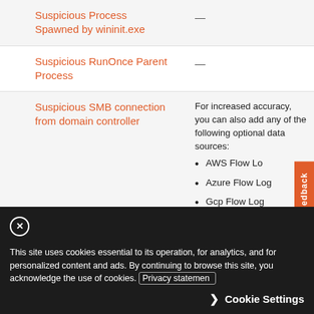|  | Rule | Description |
| --- | --- | --- |
|  | Suspicious Process Spawned by wininit.exe | — |
|  | Suspicious RunOnce Parent Process | — |
|  | Suspicious SMB connection from domain controller | For increased accuracy, you can also add any of the following optional data sources:
• AWS Flow Log
• Azure Flow Log
• Gcp Flow Log
• Palo Alto |
This site uses cookies essential to its operation, for analytics, and for personalized content and ads. By continuing to browse this site, you acknowledge the use of cookies. Privacy statement
Cookie Settings